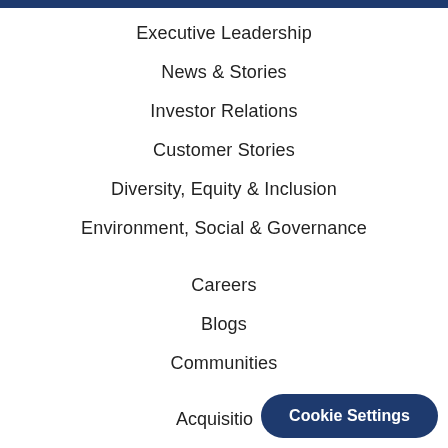Executive Leadership
News & Stories
Investor Relations
Customer Stories
Diversity, Equity & Inclusion
Environment, Social & Governance
Careers
Blogs
Communities
Acquisitions
Cookie Settings